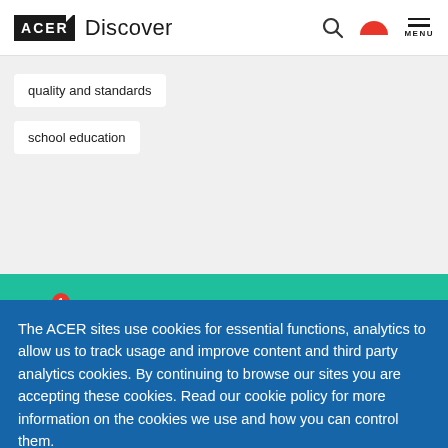ACER Discover
quality and standards
school education
[Figure (illustration): Green newsletter signup banner with envelope icon showing notification badge of 1 and text 'Never miss a story']
The ACER sites use cookies for essential functions, analytics to allow us to track usage and improve content and third party analytics cookies. By continuing to browse our sites you are accepting these cookies. Read our cookie policy for more information on the cookies we use and how you can control them.
Accept